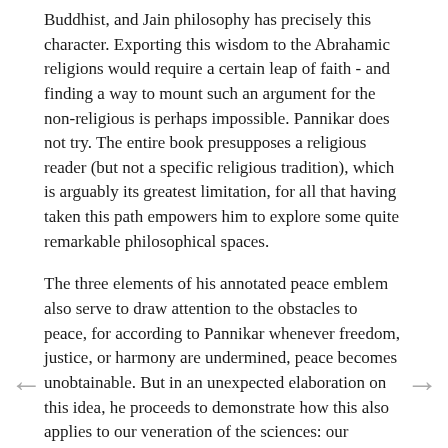Buddhist, and Jain philosophy has precisely this character. Exporting this wisdom to the Abrahamic religions would require a certain leap of faith - and finding a way to mount such an argument for the non-religious is perhaps impossible. Pannikar does not try. The entire book presupposes a religious reader (but not a specific religious tradition), which is arguably its greatest limitation, for all that having taken this path empowers him to explore some quite remarkable philosophical spaces.
The three elements of his annotated peace emblem also serve to draw attention to the obstacles to peace, for according to Pannikar whenever freedom, justice, or harmony are undermined, peace becomes unobtainable. But in an unexpected elaboration on this idea, he proceeds to demonstrate how this also applies to our veneration of the sciences: our adoration for the scientific can also become a barrier to attaining peace. When we yield scientific authority as "the privilege of a few", a "moral inequality" becomes struck in the heart of humanity, and Pannikar remains insistent that true dialogue requires equality: